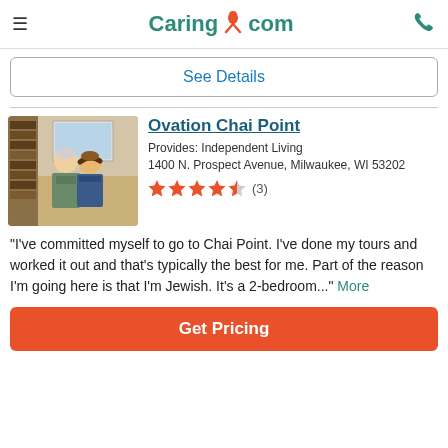Caring.com
See Details
Ovation Chai Point
Provides: Independent Living
1400 N. Prospect Avenue, Milwaukee, WI 53202
[Figure (other): 5-star rating showing approximately 4.5 stars out of 5 with (3) reviews]
"I've committed myself to go to Chai Point. I've done my tours and worked it out and that's typically the best for me. Part of the reason I'm going here is that I'm Jewish. It's a 2-bedroom..." More
Get Pricing